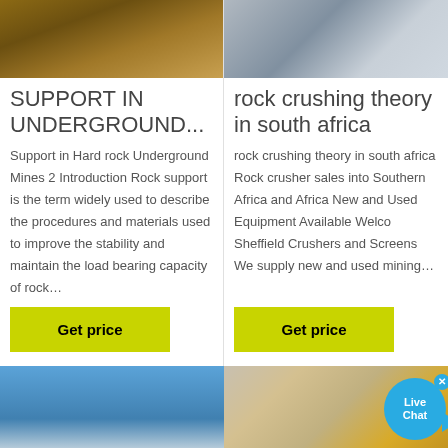[Figure (photo): Top-left: dark earth/mining soil close-up photo]
SUPPORT IN UNDERGROUND...
Support in Hard rock Underground Mines 2 Introduction Rock support is the term widely used to describe the procedures and materials used to improve the stability and maintain the load bearing capacity of rock…
[Figure (photo): Top-right: grey industrial machinery/metal structure photo]
rock crushing theory in south africa
rock crushing theory in south africa Rock crusher sales into Southern Africa and Africa New and Used Equipment Available Welcome to Sheffield Crushers and Screens We supply new and used mining…
[Figure (photo): Bottom-left: yellow mining equipment in snowy mountain landscape with blue sky]
[Figure (photo): Bottom-right: yellow industrial crusher/screen equipment in dusty environment]